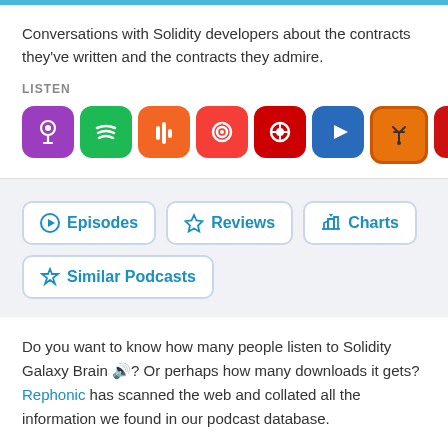Conversations with Solidity developers about the contracts they've written and the contracts they admire.
LISTEN
[Figure (illustration): Row of 10 podcast app icons: Apple Podcasts (purple), Spotify (green), Castbox (orange), Pocket Casts (orange), Overcast (red), Pocket Casts blue, Overcast antenna, Castro (red), Google Podcasts (colorful), RSS (orange)]
[Figure (illustration): Navigation buttons: Episodes, Reviews, Charts, Similar Podcasts]
Do you want to know how many people listen to Solidity Galaxy Brain 🔊? Or perhaps how many downloads it gets? Rephonic has scanned the web and collated all the information we found in our podcast database.